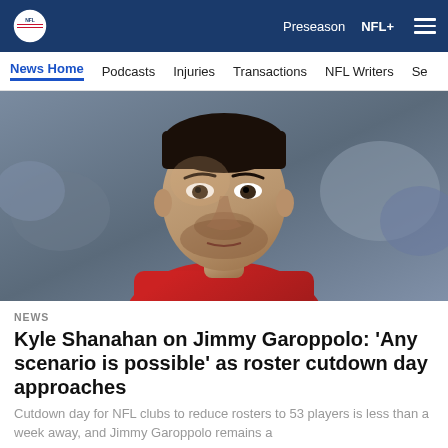NFL - Preseason NFL+
News Home  Podcasts  Injuries  Transactions  NFL Writers  Se
[Figure (photo): Close-up photo of an NFL quarterback (Jimmy Garoppolo) wearing a red jersey, looking upward with a serious expression, blurred crowd background]
NEWS
Kyle Shanahan on Jimmy Garoppolo: 'Any scenario is possible' as roster cutdown day approaches
Cutdown day for NFL clubs to reduce rosters to 53 players is less than a week away, and Jimmy Garoppolo remains a